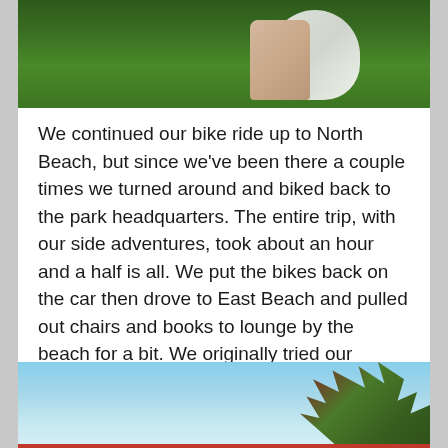[Figure (photo): Top portion of a photo showing green foliage/trees and what appears to be a person's arm and a white object (possibly a bike helmet), cropped at top of page]
We continued our bike ride up to North Beach, but since we've been there a couple times we turned around and biked back to the park headquarters. The entire trip, with our side adventures, took about an hour and a half is all. We put the bikes back on the car then drove to East Beach and pulled out chairs and books to lounge by the beach for a bit. We originally tried our secluded spot pretty far down the beach, but the flies were pretty bad. So we moved back to the completely abandoned beach (literally, by 7:00 pm there was not a single person there), and read for a while. Here's a shot to advertise for Florida:
[Figure (photo): Bottom portion of page showing beginning of a photo with blue sky and a tree with foliage on the right side, described as a shot to advertise for Florida]